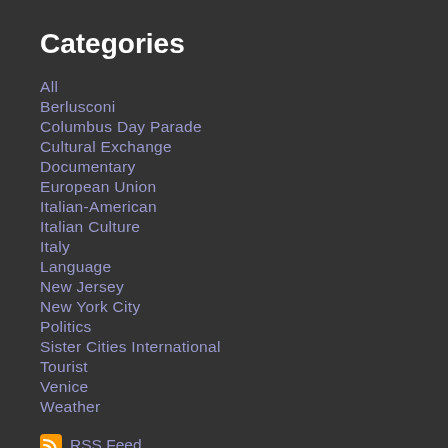Categories
All
Berlusconi
Columbus Day Parade
Cultural Exchange
Documentary
European Union
Italian-American
Italian Culture
Italy
Language
New Jersey
New York City
Politics
Sister Cities International
Tourist
Venice
Weather
RSS Feed